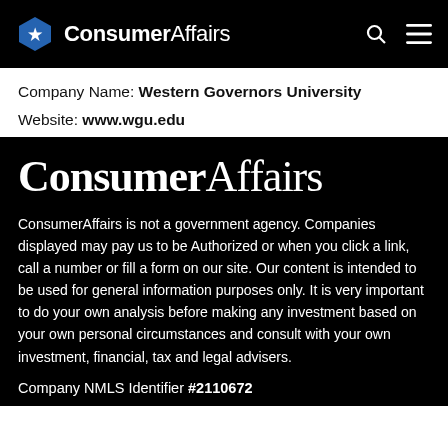ConsumerAffairs
Company Name: Western Governors University
Website: www.wgu.edu
[Figure (logo): ConsumerAffairs large logo on black background]
ConsumerAffairs is not a government agency. Companies displayed may pay us to be Authorized or when you click a link, call a number or fill a form on our site. Our content is intended to be used for general information purposes only. It is very important to do your own analysis before making any investment based on your own personal circumstances and consult with your own investment, financial, tax and legal advisers.
Company NMLS Identifier #2110672